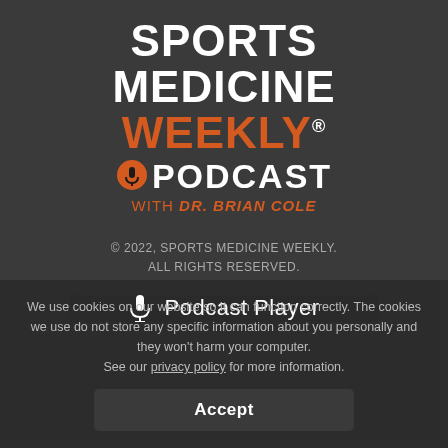[Figure (logo): Sports Medicine Weekly Podcast logo with Dr. Brian Cole text]
© 2022, SPORTS MEDICINE WEEKLY. ALL RIGHTS RESERVED.
Podcast Player (button with microphone icon)
We use cookies on our website so it can function correctly. The cookies we use do not store any specific information about you personally and they won't harm your computer. See our privacy policy for more information.
Accept